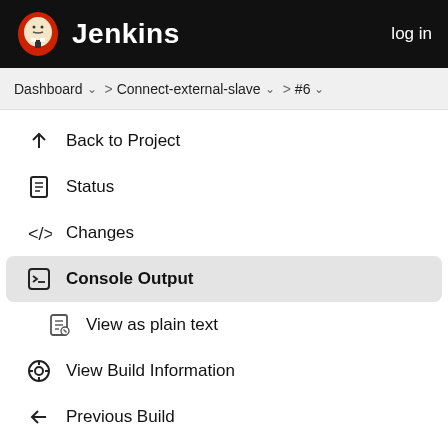Jenkins  log in
Dashboard > Connect-external-slave > #6
Back to Project
Status
Changes
Console Output
View as plain text
View Build Information
Previous Build